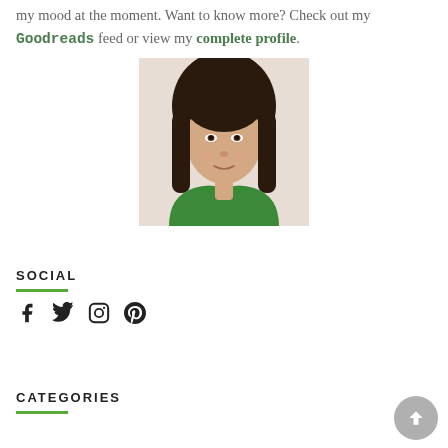my mood at the moment. Want to know more? Check out my Goodreads feed or view my complete profile.
[Figure (photo): Portrait photo of a woman with dark shoulder-length hair, wearing a green top, with a light background. She is smiling slightly toward the camera.]
SOCIAL
[Figure (infographic): Four social media icons: Facebook, Twitter, Instagram, Pinterest]
CATEGORIES